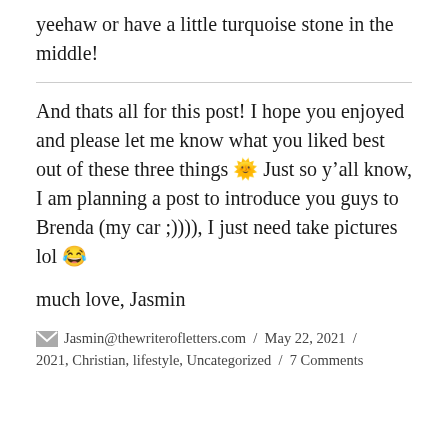yeehaw or have a little turquoise stone in the middle!
And thats all for this post! I hope you enjoyed and please let me know what you liked best out of these three things 🙂 Just so y'all know, I am planning a post to introduce you guys to Brenda (my car ;)))), I just need take pictures lol 😂
much love, Jasmin
✉ Jasmin@thewriterofletters.com / May 22, 2021 / 2021, Christian, lifestyle, Uncategorized / 7 Comments